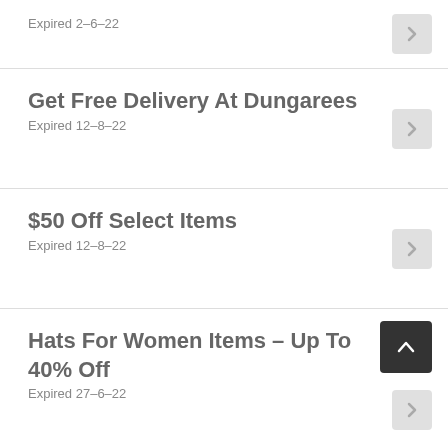Expired 2-6-22
Get Free Delivery At Dungarees
Expired 12-8-22
$50 Off Select Items
Expired 12-8-22
Hats For Women Items - Up To 40% Off
Expired 27-6-22